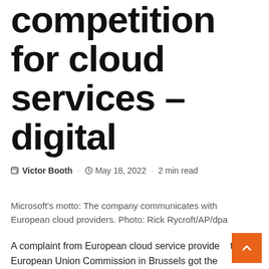competition for cloud services – digital
Victor Booth · May 18, 2022 · 2 min read
Microsoft's motto: The company communicates with European cloud providers. Photo: Rick Rycroft/AP/dpa
A complaint from European cloud service providers to the European Union Commission in Brussels got the ball rolling to get more competition in cloud...